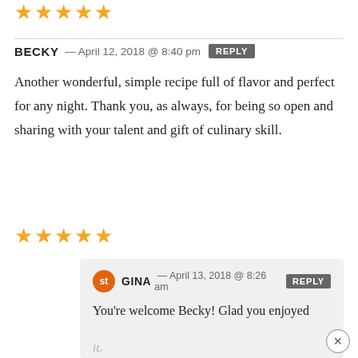[Figure (other): Five gold star rating icons (top, partially visible)]
BECKY — April 12, 2018 @ 8:40 pm  REPLY
Another wonderful, simple recipe full of flavor and perfect for any night. Thank you, as always, for being so open and sharing with your talent and gift of culinary skill.
[Figure (other): Five gold star rating icons]
GINA — April 13, 2018 @ 8:26 am  REPLY
You're welcome Becky! Glad you enjoyed it.